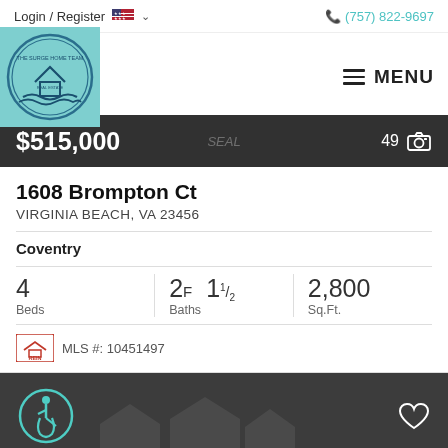Login / Register   (757) 822-9697
[Figure (logo): The Surge Home Team real estate agency circular logo with house and wave design on teal background]
$515,000   49 photos
1608 Brompton Ct
VIRGINIA BEACH, VA 23456
Coventry
| Beds | Baths | Sq.Ft. |
| --- | --- | --- |
| 4 | 2F 1 1/2 | 2,800 |
MLS #: 10451497
[Figure (illustration): Circular accessibility icon (wheelchair symbol) in teal on dark background with heart/favorite icon and faint house silhouettes]